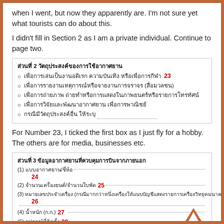when I went, but now they apparently are. I'm not sure yet what tourists can do about this.
I didn't fill in Section 2 as I am a private individual. Continue to page two.
[Figure (other): Thai form section 2 - ส่วนที่ 2 วัตถุประสงค์ของการใช้อากาศยาน with bullet list items and number 23 in red]
For Number 23, I ticked the first box as I just fly for a hobby. The others are for media, businesses etc.
[Figure (other): Thai form section 3 - ส่วนที่ 3 ข้อมูลอากาศยานที่ควบคุมการบินจากภายนอก with fields numbered 24-29]